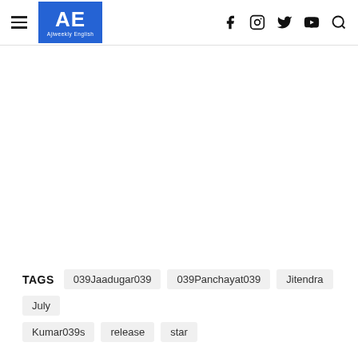AE Ajiweekly English
TAGS: 039Jaadugar039, 039Panchayat039, Jitendra, July, Kumar039s, release, star